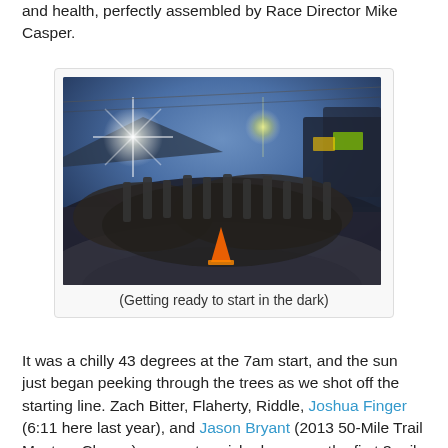and health, perfectly assembled by Race Director Mike Casper.
[Figure (photo): Fish-eye lens photo of a large group of runners gathering at the starting line in the dark, with bright lights and an orange traffic cone visible. Blue twilight sky in background with silhouetted trees and mountains.]
(Getting ready to start in the dark)
It was a chilly 43 degrees at the 7am start, and the sun just began peeking through the trees as we shot off the starting line. Zach Bitter, Flaherty, Riddle, Joshua Finger (6:11 here last year), and Jason Bryant (2013 50-Mile Trail Masters Champ) soon set a wicked pace up the first 3-mile gradual climb, while I settled into the second pack with Cassie Scallon, triathlete Jason Baer from Vermont, and a few